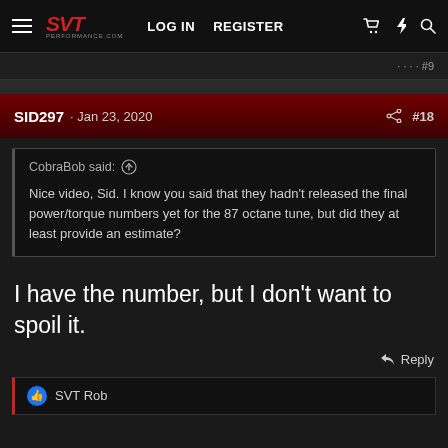SVT Performance Forums — LOG IN   REGISTER
· · · · #9
SID297 · Jan 23, 2020   #18
CobraBob said: ↑  Nice video, Sid. I know you said that they hadn't released the final power/torque numbers yet for the 87 octane tune, but did they at least provide an estimate?
I have the number, but I don't want to spoil it.
↩ Reply
👍 SVT Rob